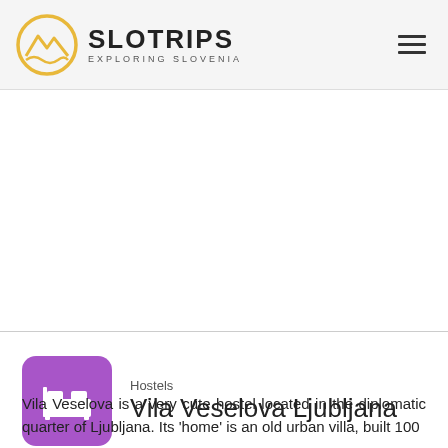SLOTRIPS EXPLORING SLOVENIA
[Figure (logo): Slotrips logo — circular golden mountain/wave emblem with SLOTRIPS text and tagline EXPLORING SLOVENIA]
Vila Veselova Ljubljana
Hostels
Vila Veselova is a very cute hostel located in the diplomatic quarter of Ljubljana. Its 'home' is an old urban villa, built 100